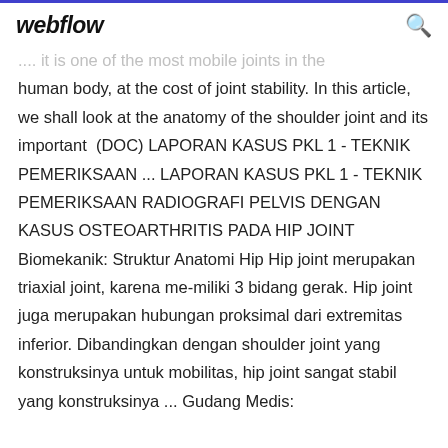webflow
.... it is one of the most mobile joints in the human body, at the cost of joint stability. In this article, we shall look at the anatomy of the shoulder joint and its important  (DOC) LAPORAN KASUS PKL 1 - TEKNIK PEMERIKSAAN ... LAPORAN KASUS PKL 1 - TEKNIK PEMERIKSAAN RADIOGRAFI PELVIS DENGAN KASUS OSTEOARTHRITIS PADA HIP JOINT Biomekanik: Struktur Anatomi Hip Hip joint merupakan triaxial joint, karena me-miliki 3 bidang gerak. Hip joint juga merupakan hubungan proksimal dari extremitas inferior. Dibandingkan dengan shoulder joint yang konstruksinya untuk mobilitas, hip joint sangat stabil yang konstruksinya ... Gudang Medis: